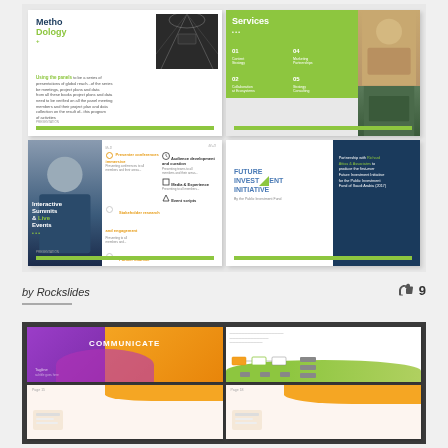[Figure (screenshot): Grid of four presentation slides showing: 1) Methodology slide with dark blue/green title and tunnel photo, 2) Services slide with green numbered list layout, 3) Interactive Summits & Live Events slide with bearded man photo, 4) Future Investment Initiative slide with teal box]
by Rockslides
[Figure (screenshot): Grid of four presentation slides showing: 1) COMMUNICATE slide with purple/orange gradient, 2) Flowchart/diagram slide with green curve, 3) Page 15 slide with orange accent, 4) Page 18 slide with orange accent]